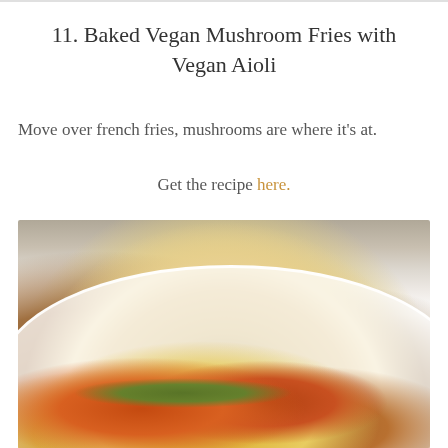11. Baked Vegan Mushroom Fries with Vegan Aioli
Move over french fries, mushrooms are where it's at.
Get the recipe here.
[Figure (photo): Close-up photo of a white bowl filled with a grain dish (quinoa or couscous) topped with roasted vegetables, herbs, and colorful toppings on a wooden background with a white cloth napkin]